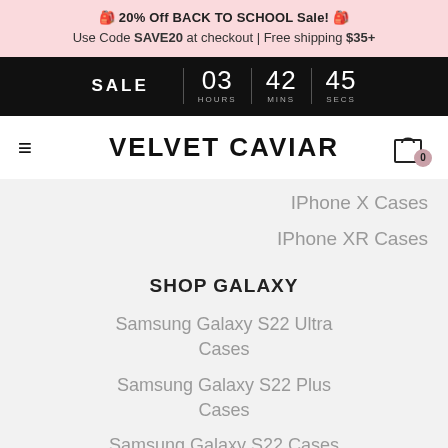🎒 20% Off BACK TO SCHOOL Sale! 🎒
Use Code SAVE20 at checkout | Free shipping $35+
SALE  03 HOURS  42 MINS  45 SECS
VELVET CAVIAR
IPhone X Cases
IPhone XR Cases
SHOP GALAXY
Samsung Galaxy S22 Ultra Cases
Samsung Galaxy S22 Plus Cases
Samsung Galaxy S22 Cases